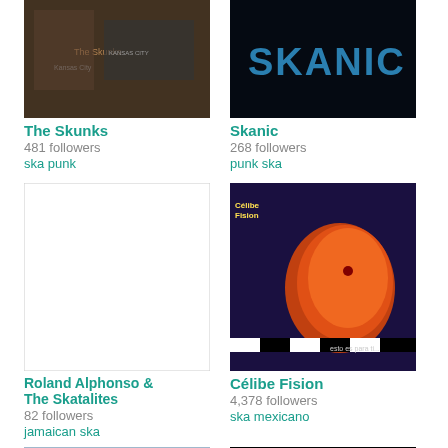[Figure (photo): The Skunks band photo/album art]
The Skunks
481 followers
ska punk
[Figure (photo): Skanic album art with text SKANIC on dark background]
Skanic
268 followers
punk ska
[Figure (photo): Roland Alphonso & The Skatalites - blank/white placeholder image]
Roland Alphonso & The Skatalites
82 followers
jamaican ska
[Figure (photo): Célibe Fision album art with colorful sci-fi baby/embryo graphic]
Célibe Fision
4,378 followers
ska mexicano
[Figure (photo): Bottom left: sky/clouds photo partial]
[Figure (photo): Bottom right: MARK text logo on black background partial]